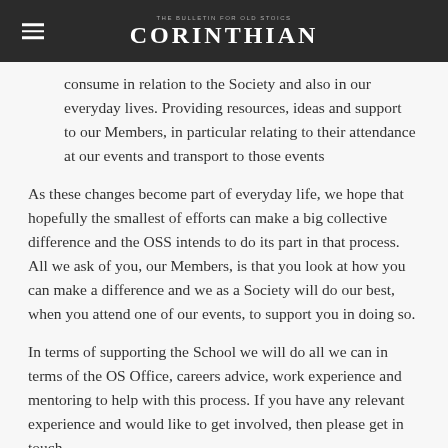THE BULLETIN FOR OLD STOICS CORINTHIAN
consume in relation to the Society and also in our everyday lives. Providing resources, ideas and support to our Members, in particular relating to their attendance at our events and transport to those events
As these changes become part of everyday life, we hope that hopefully the smallest of efforts can make a big collective difference and the OSS intends to do its part in that process. All we ask of you, our Members, is that you look at how you can make a difference and we as a Society will do our best, when you attend one of our events, to support you in doing so.
In terms of supporting the School we will do all we can in terms of the OS Office, careers advice, work experience and mentoring to help with this process. If you have any relevant experience and would like to get involved, then please get in touch.